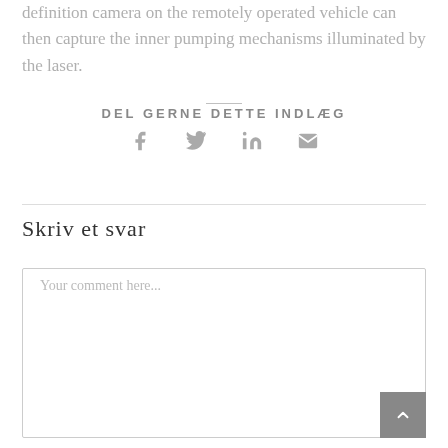definition camera on the remotely operated vehicle can then capture the inner pumping mechanisms illuminated by the laser.
DEL GERNE DETTE INDLÆG
[Figure (infographic): Four social share icons: Facebook, Twitter, LinkedIn, Email in grey]
Skriv et svar
Your comment here...